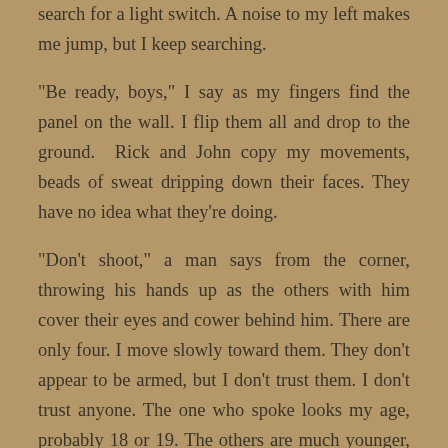search for a light switch. A noise to my left makes me jump, but I keep searching.
"Be ready, boys," I say as my fingers find the panel on the wall. I flip them all and drop to the ground. Rick and John copy my movements, beads of sweat dripping down their faces. They have no idea what they're doing.
“Don't shoot,” a man says from the corner, throwing his hands up as the others with him cover their eyes and cower behind him. There are only four. I move slowly toward them. They don't appear to be armed, but I don't trust them. I don't trust anyone. The one who spoke looks my age, probably 18 or 19. The others are much younger, like my crew. He turns around, and his eyes widen at the sight of me. The hairs stand up on the back of my neck.